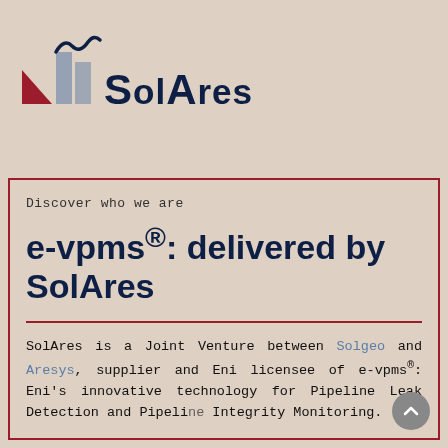[Figure (logo): SolAres logo with red triangle, grey rectangles, and dark navy wordmark 'SolAres']
Discover who we are
e-vpms®: delivered by SolAres
SolAres is a Joint Venture between Solgeo and Aresys, supplier and Eni licensee of e-vpms®: Eni's innovative technology for Pipeline Leak Detection and Pipeline Integrity Monitoring.